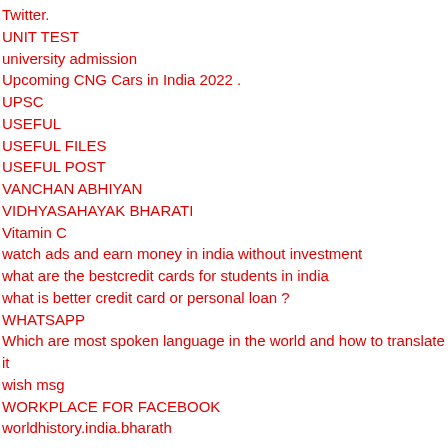Twitter.
UNIT TEST
university admission
Upcoming CNG Cars in India 2022 .
UPSC
USEFUL
USEFUL FILES
USEFUL POST
VANCHAN ABHIYAN
VIDHYASAHAYAK BHARATI
Vitamin C
watch ads and earn money in india without investment
what are the bestcredit cards for students in india
what is better credit card or personal loan ?
WHATSAPP
Which are most spoken language in the world and how to translate it
wish msg
WORKPLACE FOR FACEBOOK
worldhistory.india.bharath